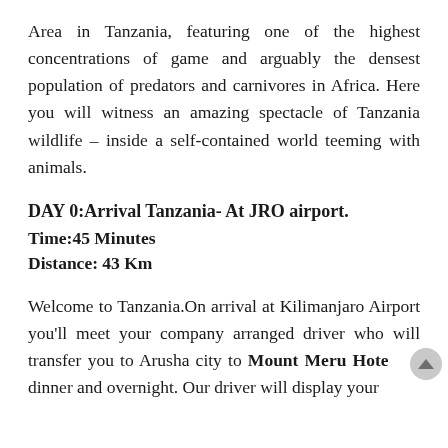Area in Tanzania, featuring one of the highest concentrations of game and arguably the densest population of predators and carnivores in Africa. Here you will witness an amazing spectacle of Tanzania wildlife – inside a self-contained world teeming with animals.
DAY 0:Arrival Tanzania- At JRO airport.
Time:45 Minutes
Distance: 43 Km
Welcome to Tanzania.On arrival at Kilimanjaro Airport you'll meet your company arranged driver who will transfer you to Arusha city to Mount Meru Hotel for dinner and overnight. Our driver will display your